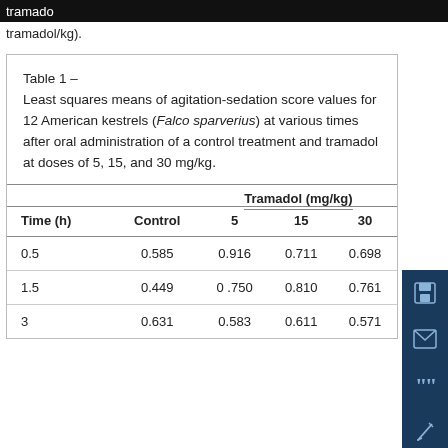tramadol/kg).
Table 1 – Least squares means of agitation-sedation score values for 12 American kestrels (Falco sparverius) at various times after oral administration of a control treatment and tramadol at doses of 5, 15, and 30 mg/kg.
| Time (h) | Control | 5 | 15 | 30 |
| --- | --- | --- | --- | --- |
| 0.5 | 0.585 | 0.916 | 0.711 | 0.698 |
| 1.5 | 0.449 | 0.750 | 0.810 | 0.761 |
| 3 | 0.631 | 0.583 | 0.611 | 0.571 |